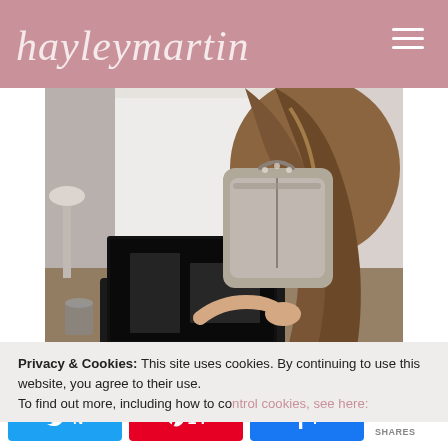hayleymartin
[Figure (photo): Woman with long hair viewed from behind, working on a laptop at a desk or cafe table near a window, with a grey/beige backpack leaning against the wall beside her.]
Privacy & Cookies: This site uses cookies. By continuing to use this website, you agree to their use.
To find out more, including how to control cookies, see here:
N  14  f  14 SHARES